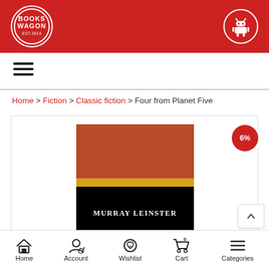Books Wagon
[Figure (logo): Books Wagon logo in circle with white border on red background]
[Figure (illustration): Android robot icon in white circle on red background]
[Figure (illustration): Hamburger menu icon (three horizontal lines)]
Home > Fiction > Classic fiction > Four from Planet Five
[Figure (photo): Book cover for 'Four from Planet Five' by Murray Leinster - dark cover with rust/brown top section, gold stripe, and black bottom with author name in white]
6%
Four from
Home  Account  Wishlist  Cart  Categories